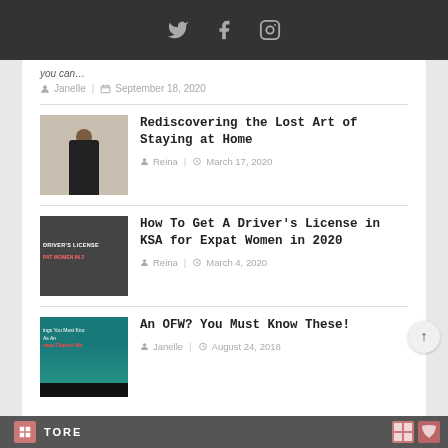Social icons: Twitter, Facebook, Instagram
you can…
Janelle | September 18, 2020
Rediscovering the Lost Art of Staying at Home
Reina | March 17, 2020
How To Get A Driver's License in KSA for Expat Women in 2020
Reina | March 4, 2020
An OFW? You Must Know These!
Janelle | August 24, 2018
TORE